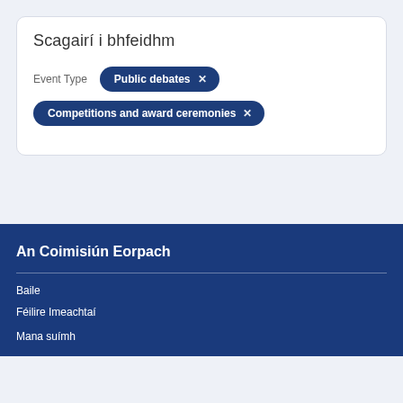Scagairí i bhfeidhm
Event Type
Public debates ×
Competitions and award ceremonies ×
An Coimisiún Eorpach
Baile
Féilire Imeachtaí
Mana suímh